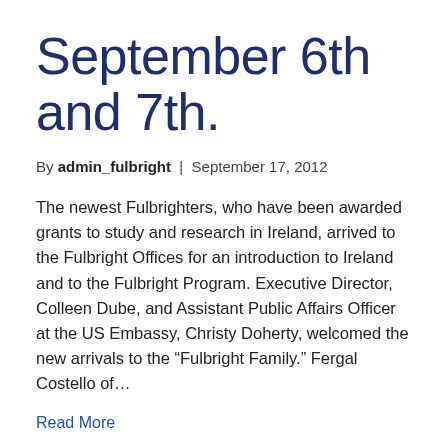September 6th and 7th.
By admin_fulbright | September 17, 2012
The newest Fulbrighters, who have been awarded grants to study and research in Ireland, arrived to the Fulbright Offices for an introduction to Ireland and to the Fulbright Program. Executive Director, Colleen Dube, and Assistant Public Affairs Officer at the US Embassy, Christy Doherty, welcomed the new arrivals to the “Fulbright Family.” Fergal Costello of…
Read More